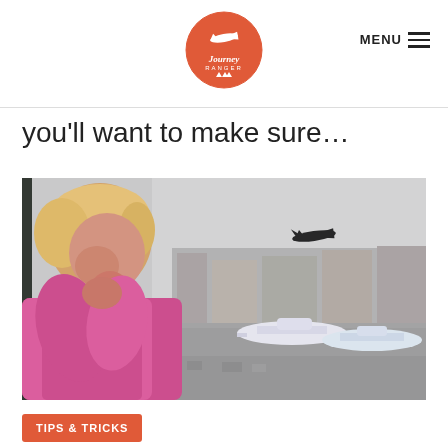Journey Ranger | MENU
you'll want to make sure…
[Figure (photo): A young toddler with blonde hair wearing a pink hoodie, standing at an airport terminal window, looking out at the tarmac where planes are parked. A silhouette of an airplane is visible in the sky in the upper right.]
TIPS & TRICKS